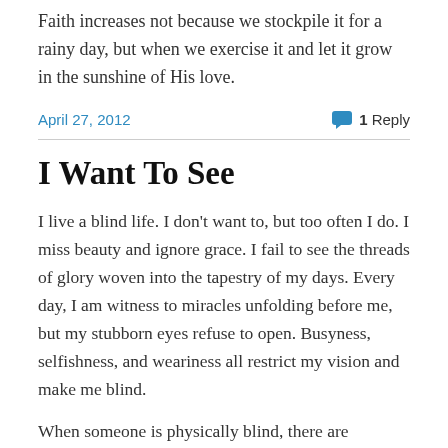Faith increases not because we stockpile it for a rainy day, but when we exercise it and let it grow in the sunshine of His love.
April 27, 2012
1 Reply
I Want To See
I live a blind life. I don't want to, but too often I do. I miss beauty and ignore grace. I fail to see the threads of glory woven into the tapestry of my days. Every day, I am witness to miracles unfolding before me, but my stubborn eyes refuse to open. Busyness, selfishness, and weariness all restrict my vision and make me blind.
When someone is physically blind, there are remarkable stories of the other senses being heightened. With spiritual